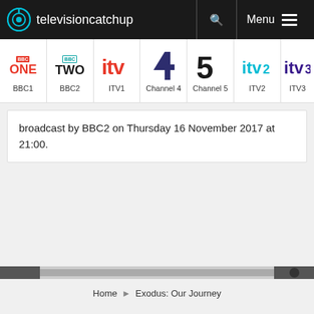televisioncatchup
[Figure (screenshot): Channel navigation bar with logos: BBC1, BBC2, ITV1, Channel 4, Channel 5, ITV2, ITV3]
broadcast by BBC2 on Thursday 16 November 2017 at 21:00.
[Figure (screenshot): Horizontal scroll bar at bottom of page]
Home ▸ Exodus: Our Journey